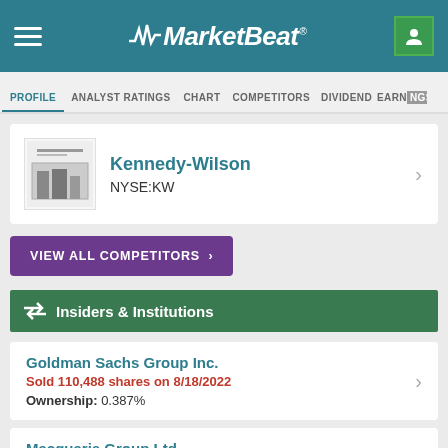MarketBeat
PROFILE  ANALYST RATINGS  CHART  COMPETITORS  DIVIDEND  EARNINGS
Kennedy-Wilson NYSE:KW
VIEW ALL COMPETITORS >
Insiders & Institutions
Goldman Sachs Group Inc.
Sold 110,488 shares on 8/18/2022
Ownership: 0.387%
Macquarie Group Ltd.
Sold 10,356 shares on 8/17/2022